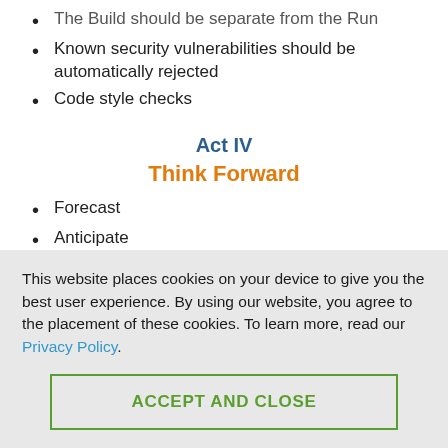The Build should be separate from the Run
Known security vulnerabilities should be automatically rejected
Code style checks
Act IV
Think Forward
Forecast
Anticipate
Innovate
This website places cookies on your device to give you the best user experience. By using our website, you agree to the placement of these cookies. To learn more, read our Privacy Policy.
ACCEPT AND CLOSE